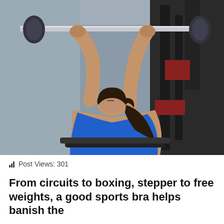[Figure (photo): Woman in blue athletic top lying on a weight bench performing a barbell press in a gym setting, viewed from below with arms extended upward holding a barbell.]
Post Views: 301
From circuits to boxing, stepper to free weights, a good sports bra helps banish the bounce. For our tried and tested, find the...